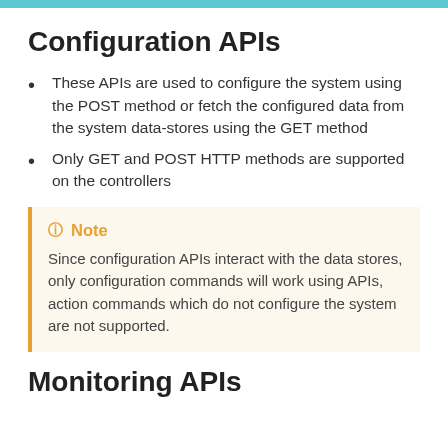Configuration APIs
These APIs are used to configure the system using the POST method or fetch the configured data from the system data-stores using the GET method
Only GET and POST HTTP methods are supported on the controllers
Note
Since configuration APIs interact with the data stores, only configuration commands will work using APIs, action commands which do not configure the system are not supported.
Monitoring APIs